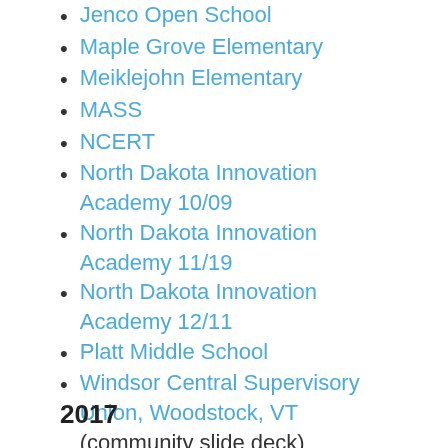Jenco Open School
Maple Grove Elementary
Meiklejohn Elementary
MASS
NCERT
North Dakota Innovation Academy 10/09
North Dakota Innovation Academy 11/19
North Dakota Innovation Academy 12/11
Platt Middle School
Windsor Central Supervisory Union, Woodstock, VT (community slide deck)
2017